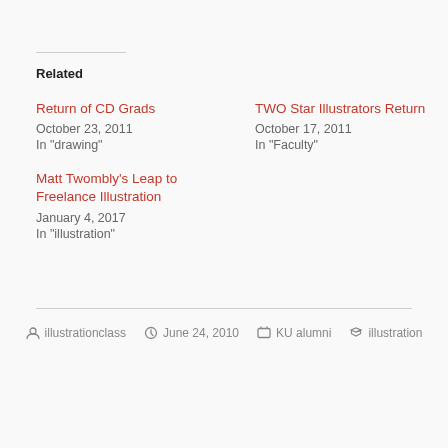Related
Return of CD Grads
October 23, 2011
In "drawing"
TWO Star Illustrators Return
October 17, 2011
In "Faculty"
Matt Twombly's Leap to Freelance Illustration
January 4, 2017
In "illustration"
illustrationclass   June 24, 2010   KU alumni   illustration